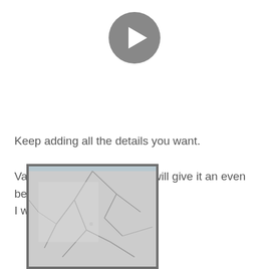[Figure (other): Gray circular play button icon with white triangle pointing right]
Keep adding all the details you want.
Varying with the brush size will give it an even better look. I went really crazy.
[Figure (photo): Photo of a hand-drawn or painted artwork showing cracked patterns on a light background, displayed in a gray-framed panel]